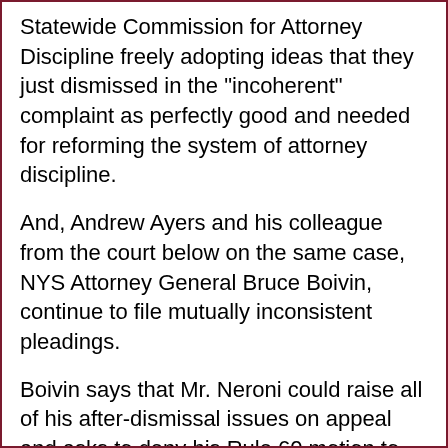Statewide Commission for Attorney Discipline freely adopting ideas that they just dismissed in the "incoherent" complaint as perfectly good and needed for reforming the system of attorney discipline.
And, Andrew Ayers and his colleague from the court below on the same case, NYS Attorney General Bruce Boivin, continue to file mutually inconsistent pleadings.
Boivin says that Mr. Neroni could raise all of his after-dismissal issues on appeal and asks to deny his Rule 60 motion to vacate because of that.
Ayers says that Mr. Neroni only needs to address the amended complaint and nothing else on appeal, and for this reason does not need an extension of page limit, without which Mr. Neroni would actually be unable to cover all issues on appeal, including what he says after dismissal.